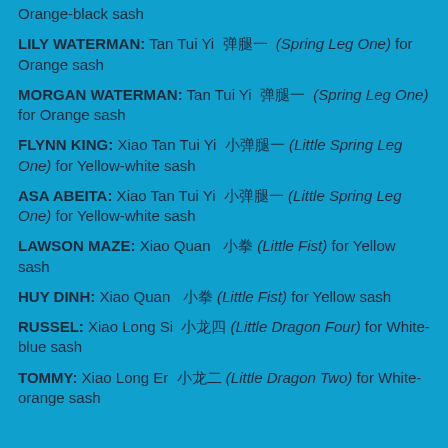Orange-black sash
LILY WATERMAN: Tan Tui Yi 弹腿一 (Spring Leg One) for Orange sash
MORGAN WATERMAN: Tan Tui Yi 弹腿一 (Spring Leg One) for Orange sash
FLYNN KING: Xiao Tan Tui Yi 小弹腿一 (Little Spring Leg One) for Yellow-white sash
ASA ABEITA: Xiao Tan Tui Yi 小弹腿一 (Little Spring Leg One) for Yellow-white sash
LAWSON MAZE: Xiao Quan 小拳 (Little Fist) for Yellow sash
HUY DINH: Xiao Quan 小拳 (Little Fist) for Yellow sash
RUSSEL: Xiao Long Si 小龙四 (Little Dragon Four) for White-blue sash
TOMMY: Xiao Long Er 小龙二 (Little Dragon Two) for White-orange sash